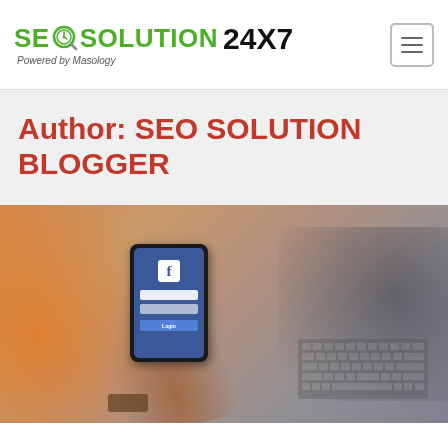[Figure (logo): SEO Solution 24x7 logo — green bold text 'SEO SOLUTION' with clock/magnifier icon and black '24x7', tagline 'Powered by Masology']
[Figure (other): Hamburger menu button (three horizontal lines in a rounded rectangle border)]
Author: SEO SOLUTION BLOGGER
[Figure (photo): A hand holding a smartphone displaying the Facebook login screen with a laptop visible in the background on a desk, warm orange lighting on left]